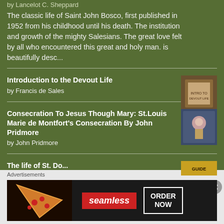by Lancelot C. Sheppard
The classic life of Saint John Bosco, first published in 1952 from his childhood until his death. The institution and growth of the mighty Salesians. The great love felt by all who encountered this great and holy man. is beautifully desc...
Introduction to the Devout Life
by Francis de Sales
Consecration To Jesus Though Mary: St.Louis Marie de Montfort's Consecration By John Pridmore
by John Pridmore
The life of St. Do...
Advertisements
[Figure (infographic): Seamless food delivery advertisement banner with pizza image on left, red Seamless logo in center, and ORDER NOW button on right against dark background]